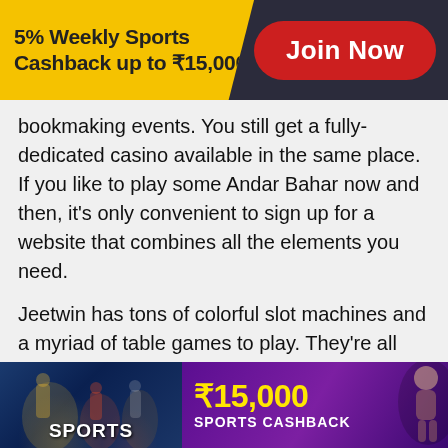[Figure (infographic): Promotional banner: yellow left panel with bold text '5% Weekly Sports Cashback up to ₹15,000' on dark background, red pill-shaped 'Join Now' button on the right]
bookmaking events. You still get a fully-dedicated casino available in the same place. If you like to play some Andar Bahar now and then, it's only convenient to sign up for a website that combines all the elements you need.
Jeetwin has tons of colorful slot machines and a myriad of table games to play. They're all fair and really simple to use. You won't have a problem grasping what's going on while playing. You may also trigger different rewards, depending on the game you choose, while placing your bets. This gives you an extra edge to win a positive return on your wagers.
[Figure (infographic): Two side-by-side promotional images: left shows cricket players with 'SPORTS' text overlay on dark blue background; right shows ₹15,000 SPORTS CASHBACK text in yellow on purple background with a female athlete]